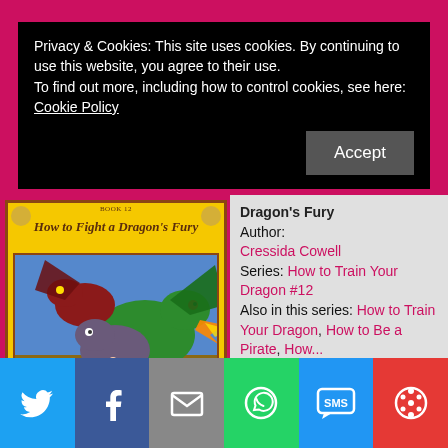Privacy & Cookies: This site uses cookies. By continuing to use this website, you agree to their use.
To find out more, including how to control cookies, see here:
Cookie Policy
Accept
[Figure (illustration): Book cover of 'How to Fight a Dragon's Fury' by Cressida Cowell, Book 12 in How to Train Your Dragon series. Yellow cover with fantasy dragon illustrations and dark banner at bottom with author name.]
Dragon's Fury
Author: Cressida Cowell
Series: How to Train Your Dragon #12
Also in this series: How to Train Your Dragon, How to Be a Pirate, How...
[Figure (infographic): Social sharing bar with Twitter, Facebook, Email, WhatsApp, SMS, and More buttons]